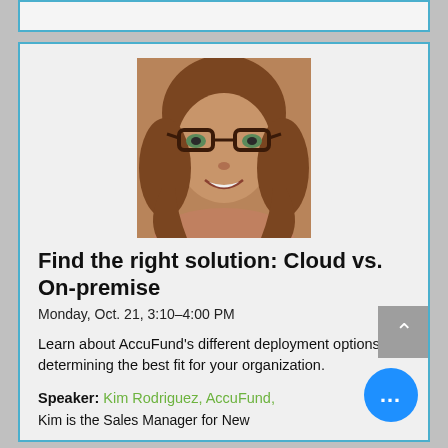[Figure (photo): Headshot photo of a woman with glasses and brown wavy hair, smiling]
Find the right solution: Cloud vs. On-premise
Monday, Oct. 21, 3:10–4:00 PM
Learn about AccuFund's different deployment options and determining the best fit for your organization.
Speaker: Kim Rodriguez, AccuFund,
Kim is the Sales Manager for New